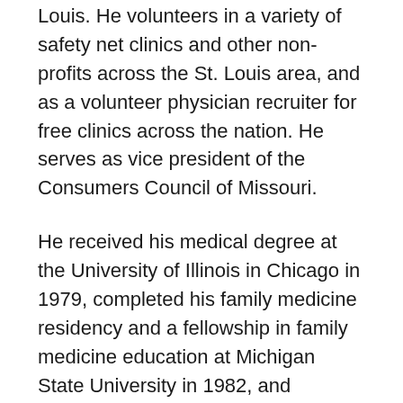Louis. He volunteers in a variety of safety net clinics and other non-profits across the St. Louis area, and as a volunteer physician recruiter for free clinics across the nation. He serves as vice president of the Consumers Council of Missouri.
He received his medical degree at the University of Illinois in Chicago in 1979, completed his family medicine residency and a fellowship in family medicine education at Michigan State University in 1982, and practiced family medicine at Rush Medical Center in Chicago for 20 years. He served as chief medical officer of